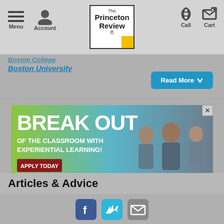Menu | Account | The Princeton Review® | Call | Cart
Boston College
Boston University
Read More
[Figure (photo): Advertisement banner: BREAK OUT OF THE CLASSROOM WITH EXPERIENTIAL LEARNING! APPLY TODAY — green and blue background with students]
Articles & Advice
[Figure (infographic): Social media icons: Facebook, Twitter, Email]